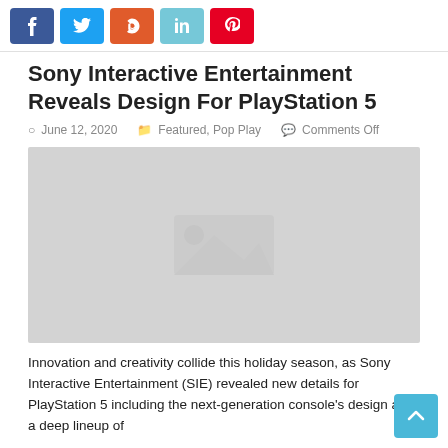[Figure (other): Social media share buttons: Facebook (blue), Twitter (blue), StumbleUpon (orange-red), LinkedIn (light blue), Pinterest (red)]
Sony Interactive Entertainment Reveals Design For PlayStation 5
June 12, 2020   Featured, Pop Play   Comments Off
[Figure (photo): Placeholder/loading image for PlayStation 5 console design reveal, shown as a light grey rectangle]
Innovation and creativity collide this holiday season, as Sony Interactive Entertainment (SIE) revealed new details for PlayStation 5 including the next-generation console's design and a deep lineup of